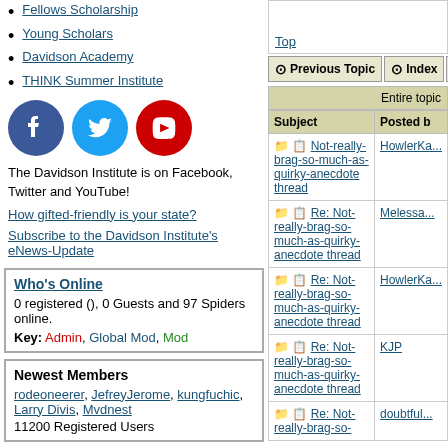Fellows Scholarship
Young Scholars
Davidson Academy
THINK Summer Institute
[Figure (illustration): Social media icons: Facebook (blue circle), Twitter (blue circle), YouTube (red circle)]
The Davidson Institute is on Facebook, Twitter and YouTube!
How gifted-friendly is your state?
Subscribe to the Davidson Institute's eNews-Update
Who's Online
0 registered (), 0 Guests and 97 Spiders online.
Key: Admin, Global Mod, Mod
Newest Members
rodeoneerer, JefreyJerome, kungfuchic, Larry Divis, Mvdnest
11200 Registered Users
Top
| Subject | Posted b... |
| --- | --- |
| Not-really-brag-so-much-as-quirky-anecdote thread | HowlerKa... |
| Re: Not-really-brag-so-much-as-quirky-anecdote thread | Melessa... |
| Re: Not-really-brag-so-much-as-quirky-anecdote thread | HowlerKa... |
| Re: Not-really-brag-so-much-as-quirky-anecdote thread | KJP |
| Re: Not-really-brag-so-much-as-... | doubtful... |